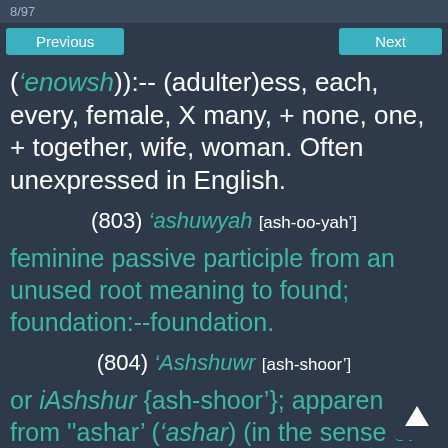8/97
Previous   Next
('enowsh)):-- (adulter)ess, each, every, female, X many, + none, one, + together, wife, woman. Often unexpressed in English.
(803) 'ashuwyah [ash-oo-yah']
feminine passive participle from an unused root meaning to found; foundation:--foundation.
(804) 'Ashshuwr [ash-shoor']
or iAshshur {ash-shoor'}; apparently from ''ashar' ('ashar) (in the sense of